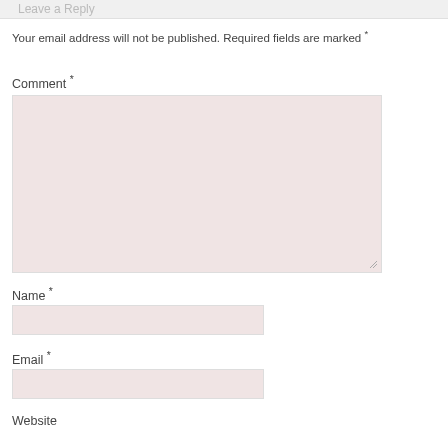Leave a Reply
Your email address will not be published. Required fields are marked *
Comment *
[Figure (other): Comment textarea input box with pinkish background and resize handle]
Name *
[Figure (other): Name text input field with pinkish background]
Email *
[Figure (other): Email text input field with pinkish background]
Website